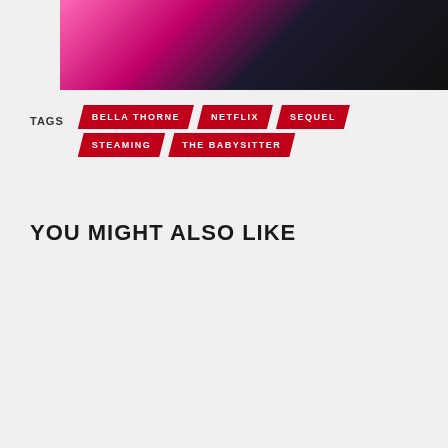[Figure (photo): Top portion of a dark image with pink/magenta coloring on the left, dark background on the right]
TAGS  BELLA THORNE  NETFLIX  SEQUEL  STEAMING  THE BABYSITTER
YOU MIGHT ALSO LIKE
[Figure (photo): Movie still showing a young man with glasses holding a flashlight, with a knife visible on the right. Text overlay reads '5 YEARS AGO']